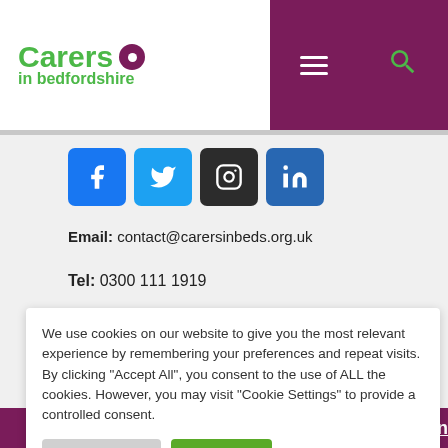[Figure (logo): Carers in Bedfordshire logo with green text and purple circle]
[Figure (screenshot): Purple navigation bar with hamburger menu icon and green search icon]
[Figure (infographic): Social media icon buttons: Facebook (blue), Twitter (light blue), Instagram (dark), LinkedIn (blue)]
Email: contact@carersinbeds.org.uk
Tel: 0300 111 1919
We use cookies on our website to give you the most relevant experience by remembering your preferences and repeat visits. By clicking “Accept All”, you consent to the use of ALL the cookies. However, you may visit “Cookie Settings” to provide a controlled consent.
Cookie Settings
Accept All
entre, Brickhill
n